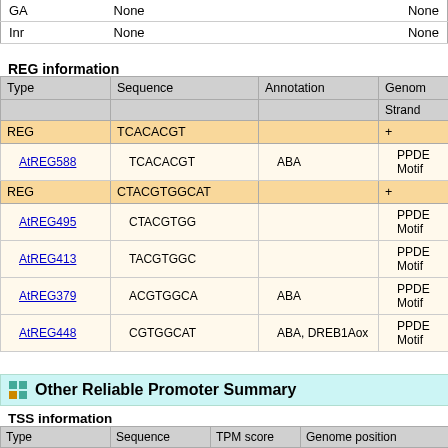| Type | Sequence | Annotation | Genome position |
| --- | --- | --- | --- |
| GA | None |  | None |
| Inr | None |  | None |
REG information
| Type | Sequence | Annotation | Genome position / Strand |
| --- | --- | --- | --- |
| REG | TCACACGT |  | + |
| AtREG588 | TCACACGT | ABA | PPDE Motif |
| REG | CTACGTGGCAT |  | + |
| AtREG495 | CTACGTGG |  | PPDE Motif |
| AtREG413 | TACGTGGC |  | PPDE Motif |
| AtREG379 | ACGTGGCA | ABA | PPDE Motif |
| AtREG448 | CGTGGCAT | ABA, DREB1Aox | PPDE Motif |
Other Reliable Promoter Summary
TSS information
| Type | Sequence | TPM score | Genome position / Strand | Genome position / Posit |
| --- | --- | --- | --- | --- |
|  |  |  | Strand | Posit |
| Not Available | Not Available | Not Available | Not Available |  |